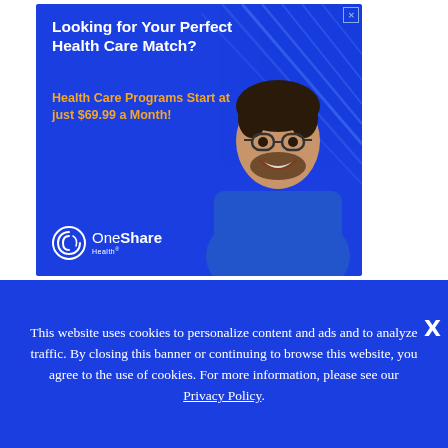[Figure (illustration): OneShare Health advertisement banner. Blue background with white bold headline 'Looking for Your Perfect Health Care Match?', orange subheadline 'Health Care Programs Start at just $69.99 a Month!', OneShare Health logo bottom left, photo of smiling man with glasses and crossed arms on the right side, diagonal decorative lines in background.]
This website uses cookies to personalize content and ads and to analyze traffic. By closing this banner or continuing to browse this website, you agree to the use of cookies. For more information, please see our Privacy Policy.